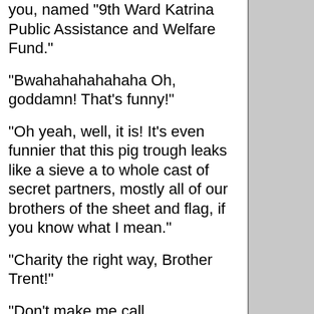you, named "9th Ward Katrina Public Assistance and Welfare Fund."
"Bwahahahahahaha Oh, goddamn! That's funny!"
"Oh yeah, well, it is! It's even funnier that this pig trough leaks like a sieve a to whole cast of secret partners, mostly all of our brothers of the sheet and flag, if you know what I mean."
"Charity the right way, Brother Trent!"
"Don't make me call